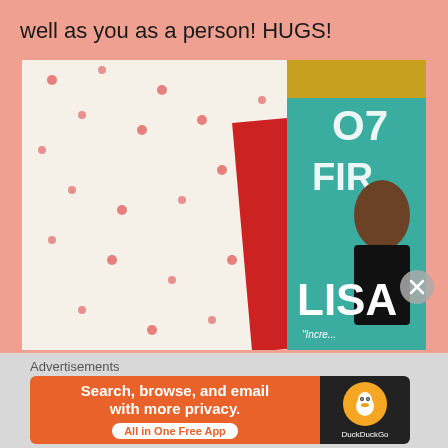well as you as a person! HUGS!
[Figure (photo): Close-up photograph of a book with a red spine labeled 'UNCORRECTED PROOF NOT FOR SALE' next to the cover of a book showing partial text 'OT', 'FIR', 'LISA' with a woman's figure on a teal background, placed on a white floral fabric]
Advertisements
[Figure (other): DuckDuckGo advertisement banner: orange left side with text 'Search, browse, and email with more privacy. All in One Free App' and dark right side with DuckDuckGo logo]